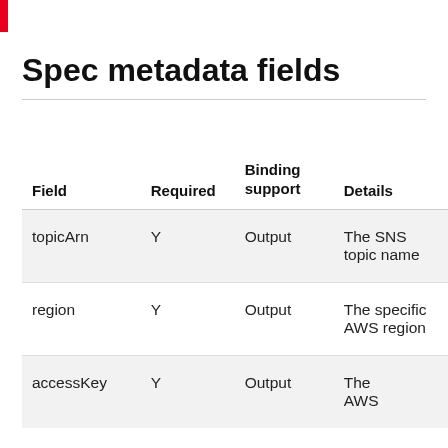Spec metadata fields
| Field | Required | Binding support | Details |
| --- | --- | --- | --- |
| topicArn | Y | Output | The SNS topic name |
| region | Y | Output | The specific AWS region |
| accessKey | Y | Output | The AWS |